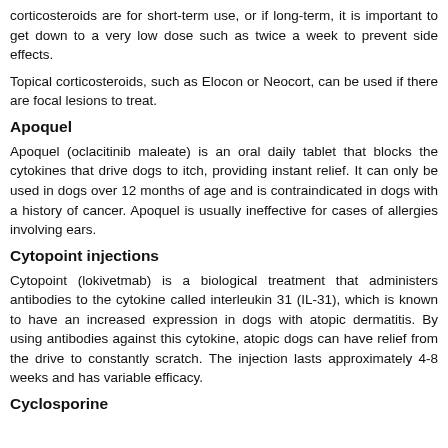corticosteroids are for short-term use, or if long-term, it is important to get down to a very low dose such as twice a week to prevent side effects.
Topical corticosteroids, such as Elocon or Neocort, can be used if there are focal lesions to treat.
Apoquel
Apoquel (oclacitinib maleate) is an oral daily tablet that blocks the cytokines that drive dogs to itch, providing instant relief. It can only be used in dogs over 12 months of age and is contraindicated in dogs with a history of cancer. Apoquel is usually ineffective for cases of allergies involving ears.
Cytopoint injections
Cytopoint (lokivetmab) is a biological treatment that administers antibodies to the cytokine called interleukin 31 (IL-31), which is known to have an increased expression in dogs with atopic dermatitis. By using antibodies against this cytokine, atopic dogs can have relief from the drive to constantly scratch. The injection lasts approximately 4-8 weeks and has variable efficacy.
Cyclosporine